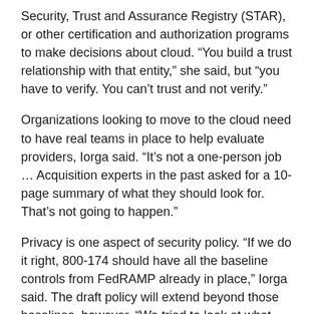Security, Trust and Assurance Registry (STAR), or other certification and authorization programs to make decisions about cloud. “You build a trust relationship with that entity,” she said, but “you have to verify. You can’t trust and not verify.”
Organizations looking to move to the cloud need to have real teams in place to help evaluate providers, Iorga said. “It’s not a one-person job … Acquisition experts in the past asked for a 10-page summary of what they should look for. That’s not going to happen.”
Privacy is one aspect of security policy. “If we do it right, 800-174 should have all the baseline controls from FedRAMP already in place,” Iorga said. The draft policy will extend beyond those baselines, however. “We tried to look at what would be necessary for different impact levels. We are planning to do the same thing with FedRAMP Plus.”